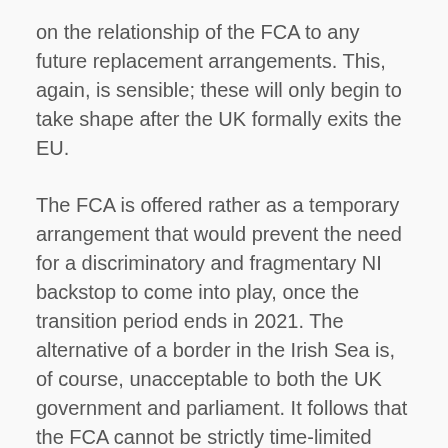on the relationship of the FCA to any future replacement arrangements. This, again, is sensible; these will only begin to take shape after the UK formally exits the EU.
The FCA is offered rather as a temporary arrangement that would prevent the need for a discriminatory and fragmentary NI backstop to come into play, once the transition period ends in 2021. The alternative of a border in the Irish Sea is, of course, unacceptable to both the UK government and parliament. It follows that the FCA cannot be strictly time-limited while it remains an interim arrangement put into place to avoid a hard NI border: it will need to remain in place until alternative replacements are agreed and put in place, whenever they are.